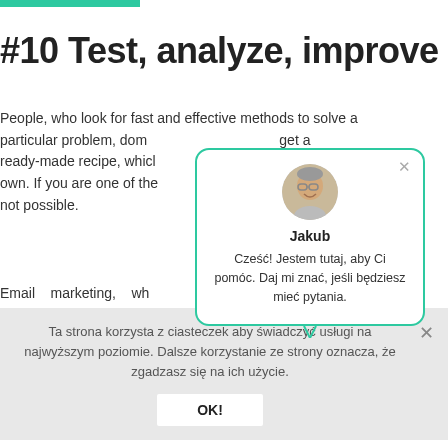#10 Test, analyze, improve
People, who look for fast and effective methods to solve a particular problem, don't get a ready-made recipe, which [help them in their] own. If you are one of those [people], this is not possible.
[Figure (screenshot): Chat popup with avatar photo of Jakub, blue-bordered rounded rectangle. Name 'Jakub' in bold. Message in Polish: 'Cześć! Jestem tutaj, aby Ci pomóc. Daj mi znać, jeśli będziesz mieć pytania.' with an X close button and chat bubble tail.]
Email marketing, wh[ich is] rather
Ta strona korzysta z ciasteczek aby świadczyć usługi na najwyższym poziomie. Dalsze korzystanie ze strony oznacza, że zgadzasz się na ich użycie.
OK!